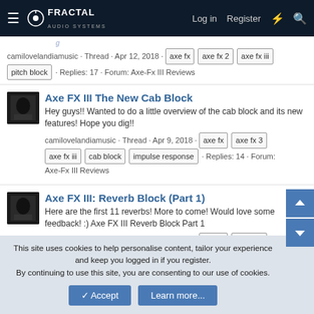Fractal Audio Systems — Log in | Register
camilovelandiamusic · Thread · Apr 12, 2018 · axe fx | axe fx 2 | axe fx iii | pitch block · Replies: 17 · Forum: Axe-Fx III Reviews
Axe FX III The New Cab Block
Hey guys!! Wanted to do a little overview of the cab block and its new features! Hope you dig!!
camilovelandiamusic · Thread · Apr 9, 2018 · axe fx | axe fx 3 | axe fx iii | cab block | impulse response · Replies: 14 · Forum: Axe-Fx III Reviews
Axe FX III: Reverb Block (Part 1)
Here are the first 11 reverbs! More to come! Would love some feedback! :) Axe FX III Reverb Block Part 1
camilovelandiamusic · Thread · Apr 6, 2018 · axe fx | axe fx 3
This site uses cookies to help personalise content, tailor your experience and keep you logged in if you register.
By continuing to use this site, you are consenting to our use of cookies.